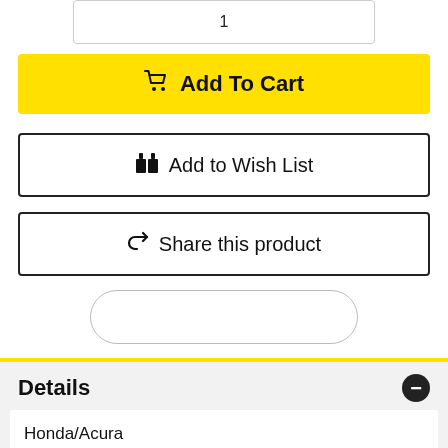1
🛒 Add To Cart
🎁 Add to Wish List
↗ Share this product
Details
Honda/Acura
Guaranteed horsepower gain